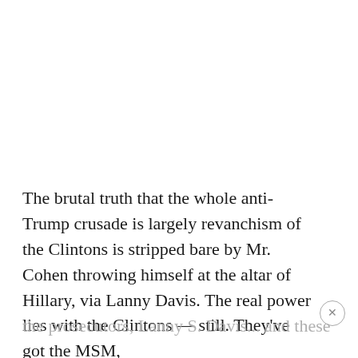The brutal truth that the whole anti-Trump crusade is largely revanchism of the Clintons is stripped bare by Mr. Cohen throwing himself at the altar of Hillary, via Lanny Davis. The real power lies with the Clintons — still. They've got the MSM, the prosecutors, Lanny S. Davis... and these